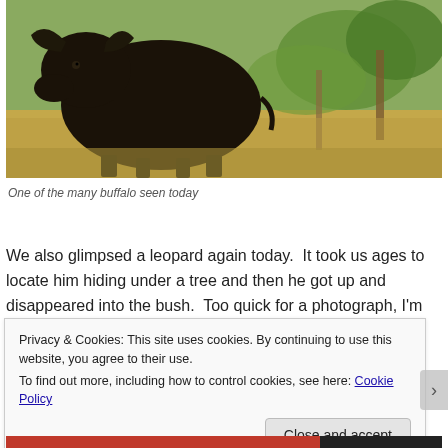[Figure (photo): A large dark buffalo standing in dry grassland with sparse trees and green bush in background]
One of the many buffalo seen today
We also glimpsed a leopard again today.  It took us ages to locate him hiding under a tree and then he got up and disappeared into the bush.  Too quick for a photograph, I'm
Privacy & Cookies: This site uses cookies. By continuing to use this website, you agree to their use.
To find out more, including how to control cookies, see here: Cookie Policy
Close and accept